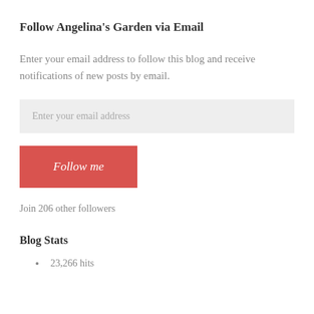Follow Angelina's Garden via Email
Enter your email address to follow this blog and receive notifications of new posts by email.
Enter your email address
Follow me
Join 206 other followers
Blog Stats
23,266 hits